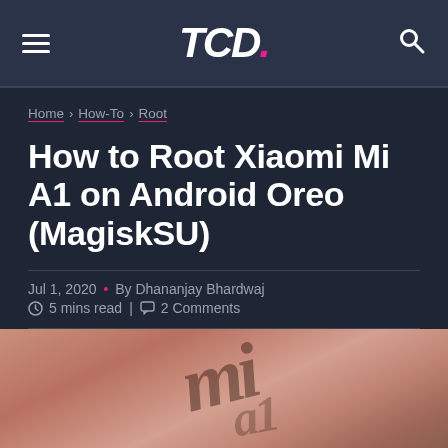TCD. (logo) — navigation bar with hamburger menu and search icon
Home > How-To > Root
How to Root Xiaomi Mi A1 on Android Oreo (MagiskSU)
Jul 1, 2020 • By Dhananjay Bhardwaj
5 mins read | 2 Comments
[Figure (photo): Close-up photo of a Xiaomi Mi A1 device showing the Mi logo engraved on the back, with a pinkish-brown background. Partial caption text visible at bottom.]